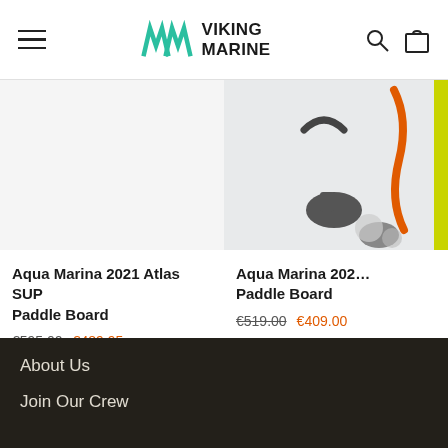Viking Marine
[Figure (photo): Product image placeholder for Aqua Marina 2021 Atlas SUP Paddle Board]
Aqua Marina 2021 Atlas SUP Paddle Board €595.00 €489.95
[Figure (photo): Product image showing SUP paddle board accessories including fins and handles in orange, grey and yellow colors]
Aqua Marina 202... Paddle Board €519.00 €409.00
About Us
Join Our Crew